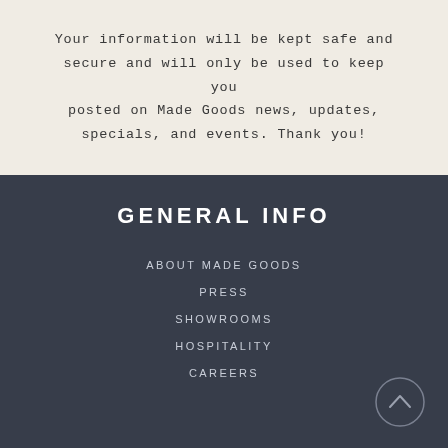Your information will be kept safe and secure and will only be used to keep you posted on Made Goods news, updates, specials, and events. Thank you!
GENERAL INFO
ABOUT MADE GOODS
PRESS
SHOWROOMS
HOSPITALITY
CAREERS